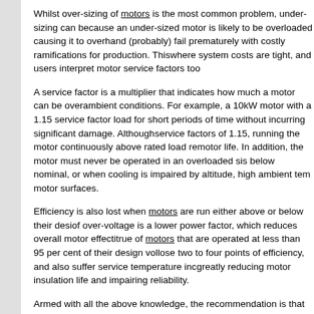Whilst over-sizing of motors is the most common problem, under-sizing can be more serious because an under-sized motor is likely to be overloaded causing it to overheat and (probably) fail prematurely with costly ramifications for production. This is especially true where system costs are tight, and users interpret motor service factors too liberally.
A service factor is a multiplier that indicates how much a motor can be overloaded under normal ambient conditions. For example, a 10kW motor with a 1.15 service factor can handle 11.5kW load for short periods of time without incurring significant damage. Although most motors carry service factors of 1.15, running the motor continuously above rated load reduces insulation and motor life. In addition, the motor must never be operated in an overloaded state when voltage is below nominal, or when cooling is impaired by altitude, high ambient temperatures, or dirty motor surfaces.
Efficiency is also lost when motors are run either above or below their design voltage. The effect of over-voltage is a lower power factor, which reduces overall motor effectiveness. The same is true of motors that are operated at less than 95 per cent of their design voltage – such motors can lose two to four points of efficiency, and also suffer service temperature increases of 10 to 15°C, greatly reducing motor insulation life and impairing reliability.
Armed with all the above knowledge, the recommendation is that motor users should identify and test all of their motors that operate over 1,000 hours per year. Then, using the test data obtained, divide the motors into the following categories:
Motors that are significantly over-sized and under-loaded: replace these with properly sized models at the next opportunity, such as during scheduled plant maintenance.
Motors that are moderately over-sized and under-loaded: replace with more properly sized models (waiting until they fail).